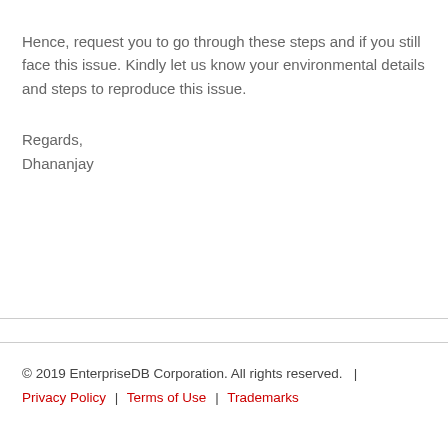Hence, request you to go through these steps and if you still face this issue. Kindly let us know your environmental details and steps to reproduce this issue.
Regards,
Dhananjay
© 2019 EnterpriseDB Corporation. All rights reserved.  |  Privacy Policy  |  Terms of Use  |  Trademarks